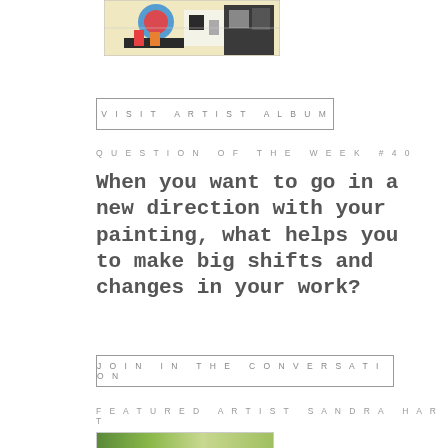[Figure (photo): Colorful abstract expressionist artwork with bright colors including blue, red, yellow, black and white]
VISIT ARTIST ALBUM
QUESTION OF THE WEEK #40
When you want to go in a new direction with your painting, what helps you to make big shifts and changes in your work?
JOIN IN THE CONVERSATION
FEATURED ARTIST SANDRA HART
[Figure (photo): Partial view of featured artist Sandra Hart's artwork at bottom of page]